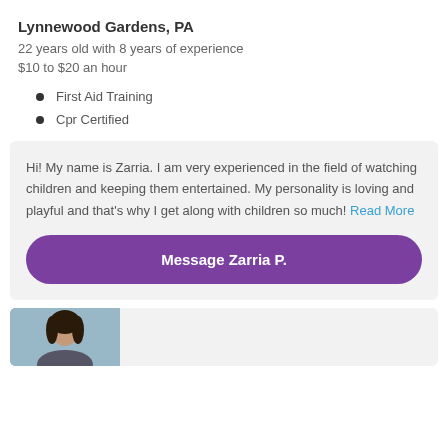Lynnewood Gardens, PA
22 years old with 8 years of experience
$10 to $20 an hour
First Aid Training
Cpr Certified
Hi! My name is Zarria. I am very experienced in the field of watching children and keeping them entertained. My personality is loving and playful and that’s why I get along with children so much! Read More
Message Zarria P.
[Figure (photo): Partial profile photo at bottom of page, person with dark hair visible from shoulders up against a light blue/grey background]